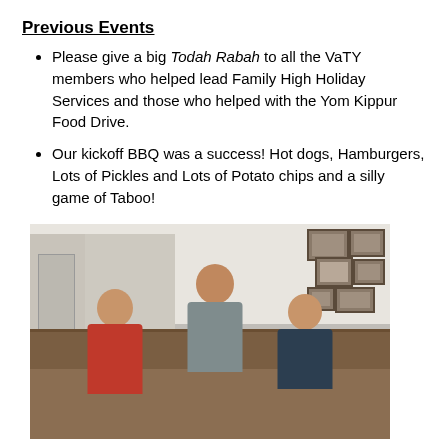Previous Events
Please give a big Todah Rabah to all the VaTY members who helped lead Family High Holiday Services and those who helped with the Yom Kippur Food Drive.
Our kickoff BBQ was a success! Hot dogs, Hamburgers, Lots of Pickles and Lots of Potato chips and a silly game of Taboo!
[Figure (photo): Three young people sitting together on a patterned couch, smiling. The person on the left wears a red sweatshirt and holds a plate, the middle person wears gray, and the right person wears a dark hoodie. A wall with framed photos is visible in the background on the right, and a door/hallway on the left.]